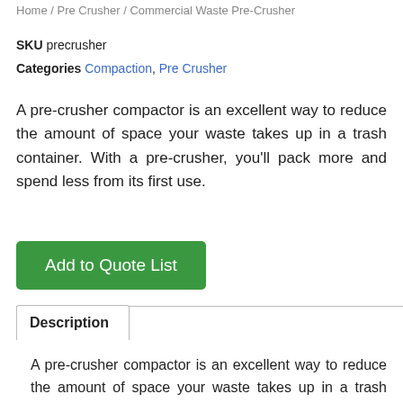Home / Pre Crusher / Commercial Waste Pre-Crusher
SKU precrusher
Categories Compaction, Pre Crusher
A pre-crusher compactor is an excellent way to reduce the amount of space your waste takes up in a trash container. With a pre-crusher, you'll pack more and spend less from its first use.
Add to Quote List
Description
A pre-crusher compactor is an excellent way to reduce the amount of space your waste takes up in a trash container. With a pre-crusher you'll pack more and